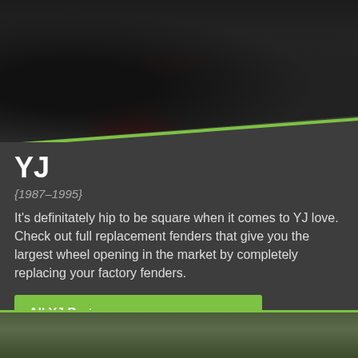[Figure (photo): Photo of Jeep YJ undercarriage/suspension components, showing axle, tires, and red differential on rocky terrain. Image has green diagonal border at bottom.]
YJ
{1987–1995}
It's definitately hip to be square when it comes to YJ love. Check out full replacement fenders that give you the largest wheel opening in the market by completely replacing your factory fenders.
All YJ Parts  >
YJ Body Armor  >
YJ Bumpers  >
[Figure (photo): Partial photo of a Jeep vehicle visible at the bottom of the page, showing green trees in background.]